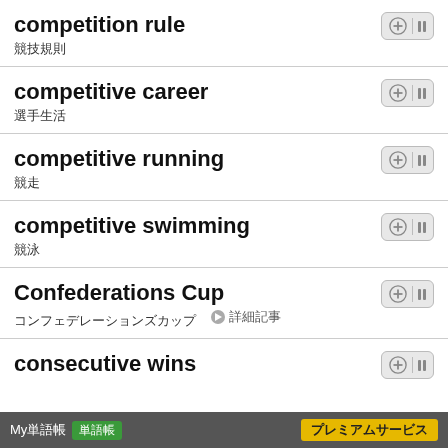competition rule
競技規則
competitive career
選手生活
competitive running
競走
competitive swimming
競泳
Confederations Cup
コンフェデレーションズカップ → 詳細記事
consecutive wins
My単語帳 単語帳 プレミアムサービス